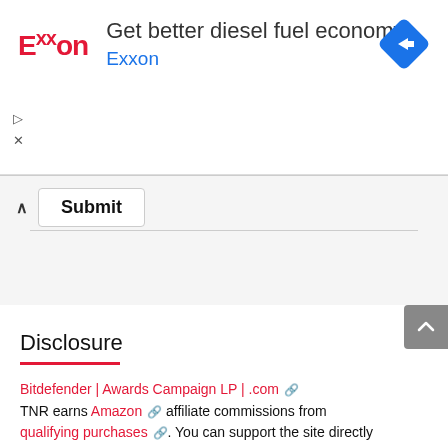[Figure (screenshot): Exxon advertisement banner with logo, text 'Get better diesel fuel economy', subtitle 'Exxon', and a blue diamond navigation icon on the right. Ad control buttons (play and close) on the left side.]
Submit
Disclosure
Bitdefender | Awards Campaign LP | .com 🔗 TNR earns Amazon 🔗 affiliate commissions from qualifying purchases 🔗. You can support the site directly via Paypal donations 🔗 🔗. Thank you!